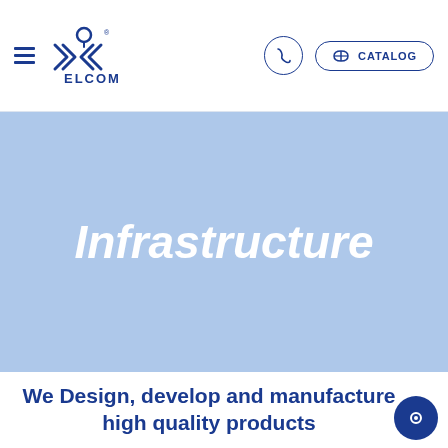[Figure (logo): ELCOM company logo with stylized bird/arrow symbol and text ELCOM]
ELCOM — navigation header with hamburger menu, logo, phone icon, and CATALOG button
Infrastructure
We Design, develop and manufacture high quality products